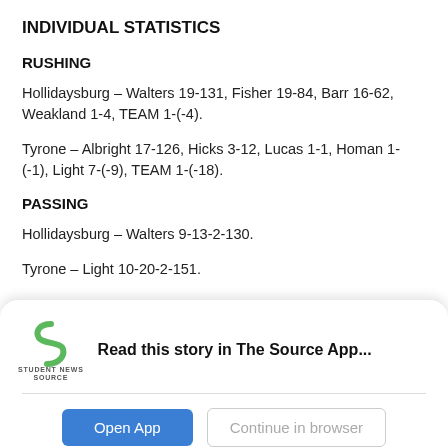INDIVIDUAL STATISTICS
RUSHING
Hollidaysburg – Walters 19-131, Fisher 19-84, Barr 16-62, Weakland 1-4, TEAM 1-(-4).
Tyrone – Albright 17-126, Hicks 3-12, Lucas 1-1, Homan 1-(-1), Light 7-(-9), TEAM 1-(-18).
PASSING
Hollidaysburg – Walters 9-13-2-130.
Tyrone – Light 10-20-2-151.
[Figure (other): Student News Source app banner with logo, 'Read this story in The Source App...' text, Open App button, and Continue in browser button]